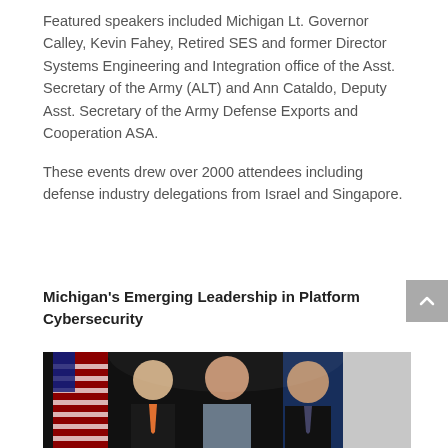Featured speakers included Michigan Lt. Governor Calley, Kevin Fahey, Retired SES and former Director Systems Engineering and Integration office of the Asst. Secretary of the Army (ALT) and Ann Cataldo, Deputy Asst. Secretary of the Army Defense Exports and Cooperation ASA.

These events drew over 2000 attendees including defense industry delegations from Israel and Singapore.
Michigan's Emerging Leadership in Platform Cybersecurity
[Figure (photo): Three people (two men and a woman) standing together in front of American and other flags against a dark background. The man on the left wears a suit with an orange tie, the woman in the center has blonde hair and wears a grey top, and the man on the right wears a dark suit with a striped tie.]